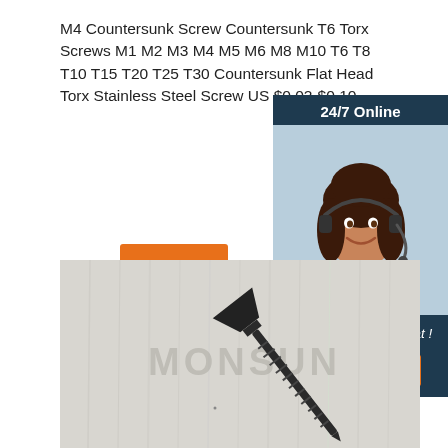M4 Countersunk Screw Countersunk T6 Torx Screws M1 M2 M3 M4 M5 M6 M8 M10 T6 T8 T10 T15 T20 T25 T30 Countersunk Flat Head Torx Stainless Steel Screw US $0.02-$0.10 …
Get Price
[Figure (photo): Customer service representative with headset, smiling, used as a 24/7 online chat sidebar banner with 'Click here for free chat!' and 'QUOTATION' button, on dark navy background.]
[Figure (photo): Close-up photo of a black countersunk Torx screw on a white/grey wood grain background with MONSUN watermark text.]